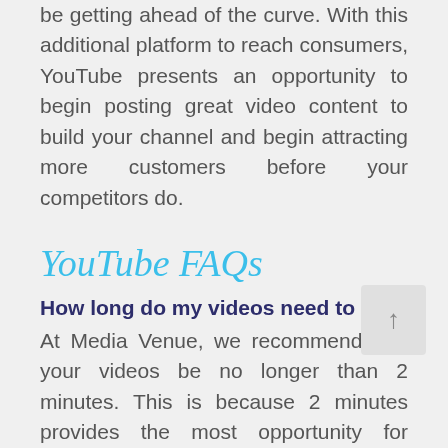be getting ahead of the curve. With this additional platform to reach consumers, YouTube presents an opportunity to begin posting great video content to build your channel and begin attracting more customers before your competitors do.
YouTube FAQs
How long do my videos need to be?
At Media Venue, we recommend that your videos be no longer than 2 minutes. This is because 2 minutes provides the most opportunity for maximum engagement while also being just enough time to give a great